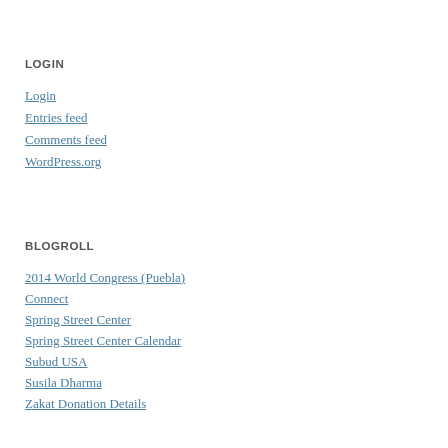LOGIN
Login
Entries feed
Comments feed
WordPress.org
BLOGROLL
2014 World Congress (Puebla)
Connect
Spring Street Center
Spring Street Center Calendar
Subud USA
Susila Dharma
Zakat Donation Details